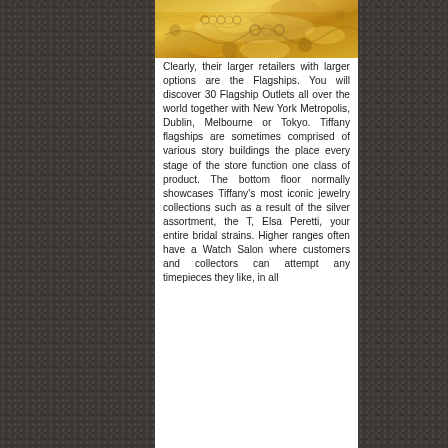[Figure (photo): Close-up photo of gold jewelry pieces and chains, showing ornate golden metalwork.]
Clearly, their larger retailers with larger options are the Flagships. You will discover 30 Flagship Outlets all over the world together with New York Metropolis, Dublin, Melbourne or Tokyo. Tiffany flagships are sometimes comprised of various story buildings the place every stage of the store function one class of product. The bottom floor normally showcases Tiffany's most iconic jewelry collections such as a result of the silver assortment, the T, Elsa Peretti, your entire bridal strains. Higher ranges often have a Watch Salon where customers and collectors can attempt any timepieces they like, in all